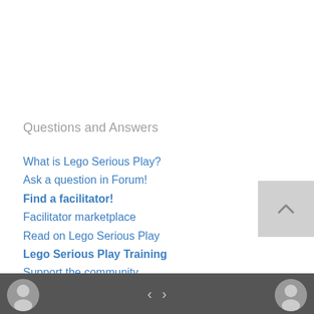Questions and Answers
What is Lego Serious Play?
Ask a question in Forum!
Find a facilitator!
Facilitator marketplace
Read on Lego Serious Play
Lego Serious Play Training
Support the community
Contribute your stories
Join Serious Play Community!